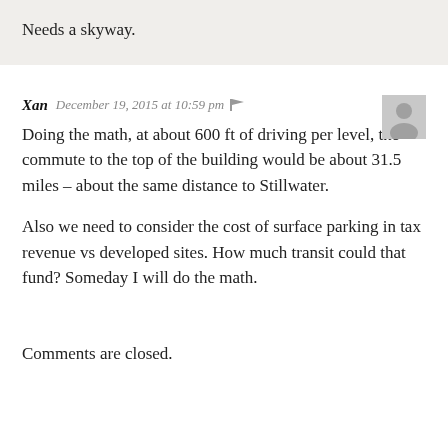Needs a skyway.
Xan  December 19, 2015 at 10:59 pm
Doing the math, at about 600 ft of driving per level, the commute to the top of the building would be about 31.5 miles – about the same distance to Stillwater.
Also we need to consider the cost of surface parking in tax revenue vs developed sites. How much transit could that fund? Someday I will do the math.
Comments are closed.